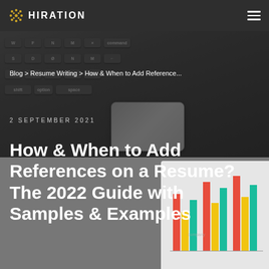HIRATION
[Figure (photo): Background photo of a laptop keyboard and trackpad on a wooden desk, with a bar chart document visible in the lower right corner, all overlaid with a dark semi-transparent gradient]
Blog > Resume Writing > How & When to Add Reference...
2 SEPTEMBER 2021
How & When to Add References on a Resume? The 2022 Guide with Samples & Examples